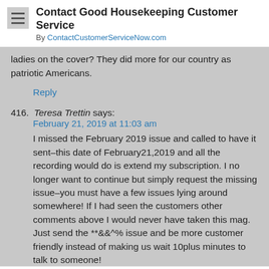Contact Good Housekeeping Customer Service
By ContactCustomerServiceNow.com
ladies on the cover? They did more for our country as patriotic Americans.
Reply
416. Teresa Trettin says:
February 21, 2019 at 11:03 am
I missed the February 2019 issue and called to have it sent–this date of February21,2019 and all the recording would do is extend my subscription. I no longer want to continue but simply request the missing issue–you must have a few issues lying around somewhere! If I had seen the customers other comments above I would never have taken this mag. Just send the **&&^% issue and be more customer friendly instead of making us wait 10plus minutes to talk to someone!
Reply
417.
[Figure (screenshot): Tally app advertisement banner: 'Fast credit card payoff' with Download Now button]